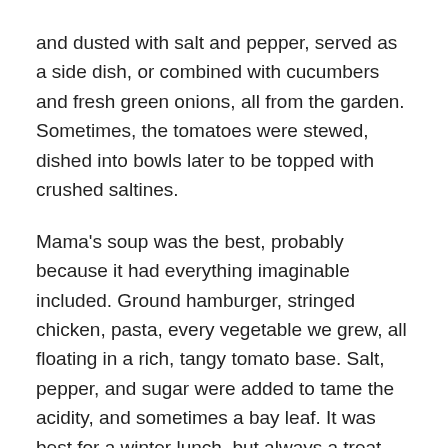and dusted with salt and pepper, served as a side dish, or combined with cucumbers and fresh green onions, all from the garden. Sometimes, the tomatoes were stewed, dished into bowls later to be topped with crushed saltines.
Mama's soup was the best, probably because it had everything imaginable included. Ground hamburger, stringed chicken, pasta, every vegetable we grew, all floating in a rich, tangy tomato base. Salt, pepper, and sugar were added to tame the acidity, and sometimes a bay leaf. It was best for a winter lunch, but always a treat, during the high traffic days of Mama's kitchen, no matter the time of day, I never saw anyone ever turn down a bowl. They usually asked for seconds.